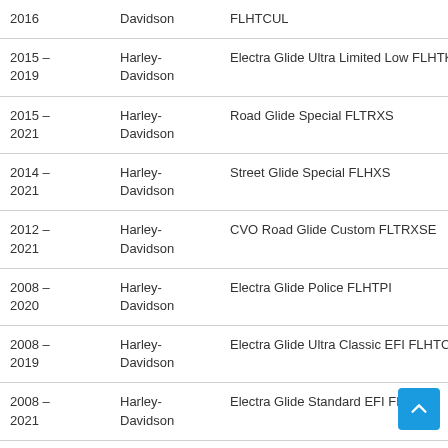| Year | Make | Model |
| --- | --- | --- |
| 2016 | Davidson | FLHTCUL |
| 2015 – 2019 | Harley-Davidson | Electra Glide Ultra Limited Low FLHTKL |
| 2015 – 2021 | Harley-Davidson | Road Glide Special FLTRXS |
| 2014 – 2021 | Harley-Davidson | Street Glide Special FLHXS |
| 2012 – 2021 | Harley-Davidson | CVO Road Glide Custom FLTRXSE |
| 2008 – 2020 | Harley-Davidson | Electra Glide Police FLHTPI |
| 2008 – 2019 | Harley-Davidson | Electra Glide Ultra Classic EFI FLHTCUI |
| 2008 – 2021 | Harley-Davidson | Electra Glide Standard EFI FLHTI |